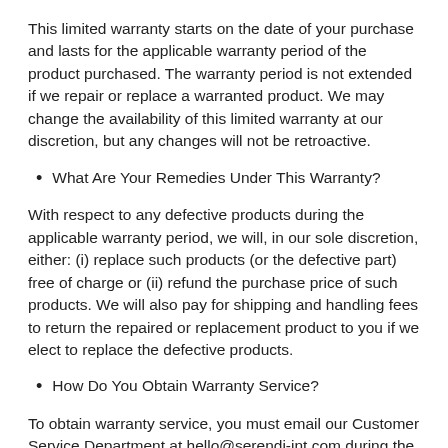This limited warranty starts on the date of your purchase and lasts for the applicable warranty period of the product purchased. The warranty period is not extended if we repair or replace a warranted product. We may change the availability of this limited warranty at our discretion, but any changes will not be retroactive.
What Are Your Remedies Under This Warranty?
With respect to any defective products during the applicable warranty period, we will, in our sole discretion, either: (i) replace such products (or the defective part) free of charge or (ii) refund the purchase price of such products. We will also pay for shipping and handling fees to return the repaired or replacement product to you if we elect to replace the defective products.
How Do You Obtain Warranty Service?
To obtain warranty service, you must email our Customer Service Department at hello@serendi-int.com during the applicable Warranty